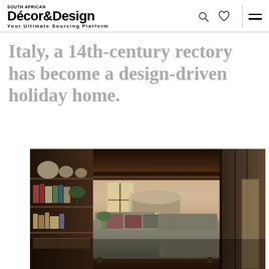Décor&Design — Your Ultimate Sourcing Platform
Italy, a 14th-century rectory has become a design-driven holiday home.
[Figure (photo): Interior of a renovated 14th-century Italian rectory showing a rustic living room with dark wooden ceiling beams, stone fireplace, grey modular sofa with dusty pink and grey cushions, open shelving on the left with books and decorative objects, and a doorway on the right opening to an exterior space. Warm earthy tones throughout.]